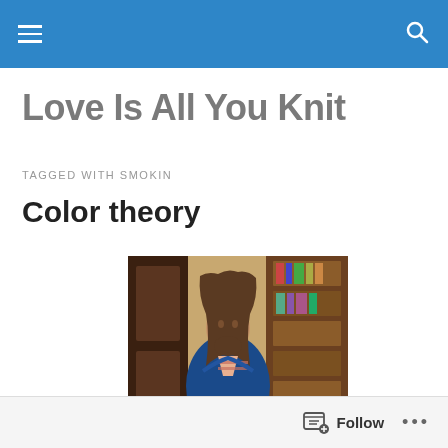Navigation bar with menu and search icons
Love Is All You Knit
TAGGED WITH SMOKIN
Color theory
[Figure (photo): A man with long hair and a beard wearing a blue knitted cardigan sweater, standing in front of a wooden bookshelf filled with books]
Follow ...